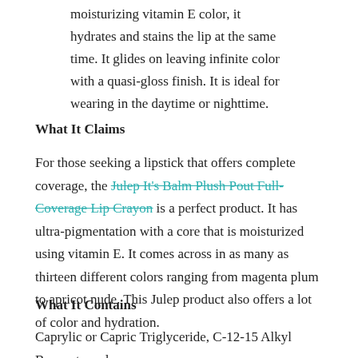moisturizing vitamin E color, it hydrates and stains the lip at the same time. It glides on leaving infinite color with a quasi-gloss finish. It is ideal for wearing in the daytime or nighttime.
What It Claims
For those seeking a lipstick that offers complete coverage, the Julep It's Balm Plush Pout Full-Coverage Lip Crayon is a perfect product. It has ultra-pigmentation with a core that is moisturized using vitamin E. It comes across in as many as thirteen different colors ranging from magenta plum to apricot nude. This Julep product also offers a lot of color and hydration.
What It Contains
Caprylic or Capric Triglyceride, C-12-15 Alkyl Benzoate and Butyrospermum Parkii butter are some of the ingredients listed